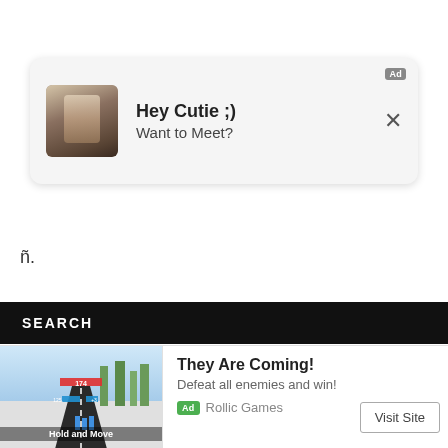[Figure (screenshot): Ad notification card with thumbnail image, title 'Hey Cutie ;) Want to Meet?', Ad badge, and close button X]
ñ.
SEARCH
[Figure (screenshot): Game ad card with thumbnail image showing road/game scene labeled 'Hold and Move', title 'They Are Coming!', description 'Defeat all enemies and win!', Ad badge, 'Rollic Games' source, and 'Visit Site' button]